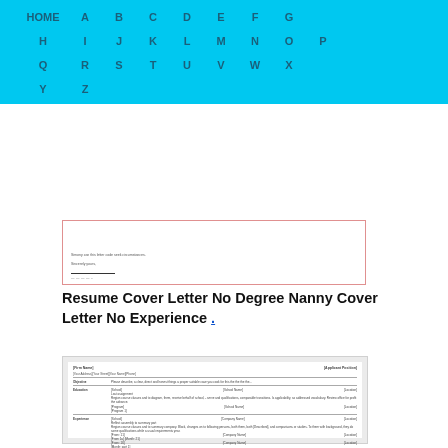HOME A B C D E F G H I J K L M N O P Q R S T U V W X Y Z
[Figure (screenshot): Thumbnail preview of a cover letter document with pink border, showing small text lines and a signature line at the bottom.]
Resume Cover Letter No Degree Nanny Cover Letter No Experience .
[Figure (screenshot): Thumbnail preview of a resume template on grey background showing sections: Firm Name, Applicant Position, Objective, Education, Experience, and References with formatted rows and columns.]